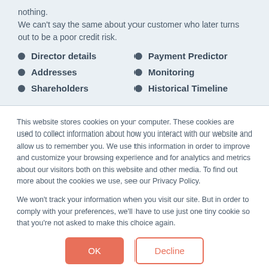nothing.
We can't say the same about your customer who later turns out to be a poor credit risk.
Director details
Payment Predictor
Addresses
Monitoring
Shareholders
Historical Timeline
This website stores cookies on your computer. These cookies are used to collect information about how you interact with our website and allow us to remember you. We use this information in order to improve and customize your browsing experience and for analytics and metrics about our visitors both on this website and other media. To find out more about the cookies we use, see our Privacy Policy.
We won't track your information when you visit our site. But in order to comply with your preferences, we'll have to use just one tiny cookie so that you're not asked to make this choice again.